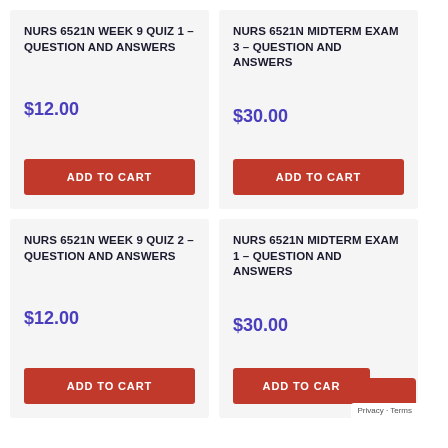NURS 6521N WEEK 9 QUIZ 1 – QUESTION AND ANSWERS
$12.00
ADD TO CART
NURS 6521N MIDTERM EXAM 3 – QUESTION AND ANSWERS
$30.00
ADD TO CART
NURS 6521N WEEK 9 QUIZ 2 – QUESTION AND ANSWERS
$12.00
ADD TO CART
NURS 6521N MIDTERM EXAM 1 – QUESTION AND ANSWERS
$30.00
ADD TO CART